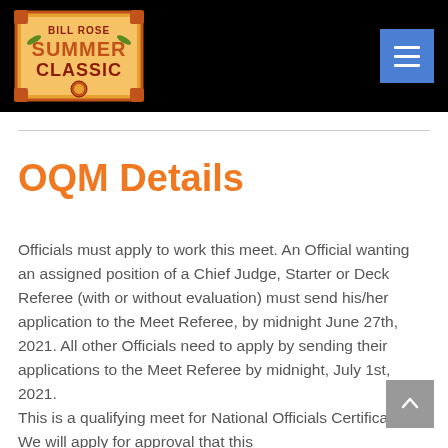[Figure (logo): Bill Rose Summer Classic logo on black header background with hamburger menu button]
OQM Details
Officials must apply to work this meet. An Official wanting an assigned position of a Chief Judge, Starter or Deck Referee (with or without evaluation) must send his/her application to the Meet Referee, by midnight June 27th, 2021. All other Officials need to apply by sending their applications to the Meet Referee by midnight, July 1st, 2021.
This is a qualifying meet for National Officials Certification. We will apply for approval that this